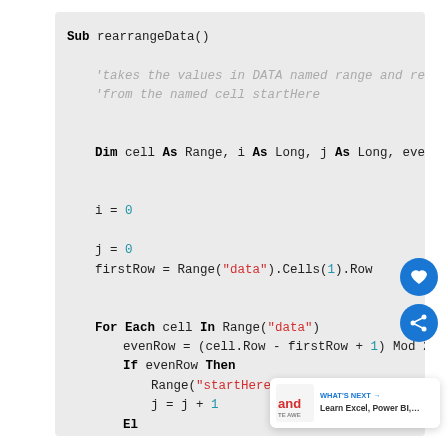Sub rearrangeData()
    'takes the values in DATA named range and rearranges th
    'from the named cell startHere

    Dim cell As Range, i As Long, j As Long, evenRow As Boo

    i = 0
    j = 0
    firstRow = Range("data").Cells(1).Row

    For Each cell In Range("data")
        evenRow = (cell.Row - firstRow + 1) Mod 2 =
        If evenRow Then
            Range("startHere").Offset(j,
            j = j + 1
        El